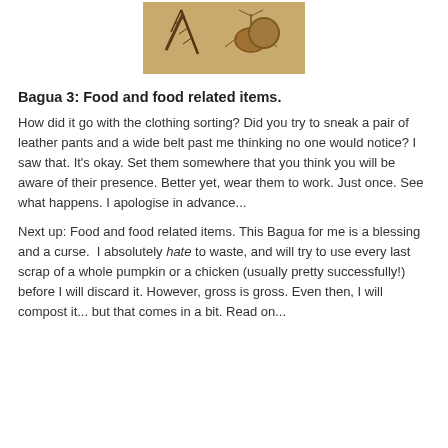[Figure (photo): A close-up photo of what appears to be two shrimp or insects on a yellowish/tan background]
Bagua 3: Food and food related items.
How did it go with the clothing sorting? Did you try to sneak a pair of leather pants and a wide belt past me thinking no one would notice? I saw that. It’s okay. Set them somewhere that you think you will be aware of their presence. Better yet, wear them to work. Just once. See what happens. I apologise in advance...
Next up: Food and food related items. This Bagua for me is a blessing and a curse.  I absolutely hate to waste, and will try to use every last scrap of a whole pumpkin or a chicken (usually pretty successfully!) before I will discard it. However, gross is gross. Even then, I will compost it... but that comes in a bit. Read on...